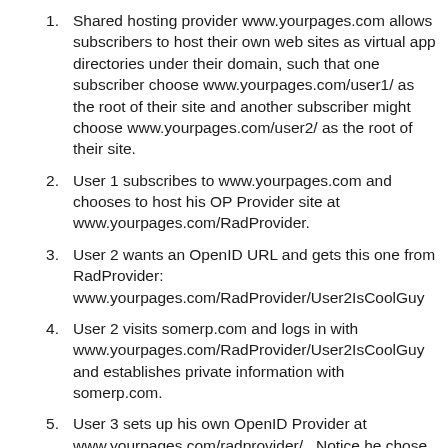Shared hosting provider www.yourpages.com allows subscribers to host their own web sites as virtual app directories under their domain, such that one subscriber choose www.yourpages.com/user1/ as the root of their site and another subscriber might choose www.yourpages.com/user2/ as the root of their site.
User 1 subscribes to www.yourpages.com and chooses to host his OP Provider site at www.yourpages.com/RadProvider.
User 2 wants an OpenID URL and gets this one from RadProvider: www.yourpages.com/RadProvider/User2IsCoolGuy
User 2 visits somerp.com and logs in with www.yourpages.com/RadProvider/User2IsCoolGuy and establishes private information with somerp.com.
User 3 sets up his own OpenID Provider at www.yourpages.com/radprovider/.  Notice he chose the name to match an existing provider but with different casing.  This case sensitive shared hosting service didn't think of the security ramifications behind his innocent web server allowing multiple users to have...